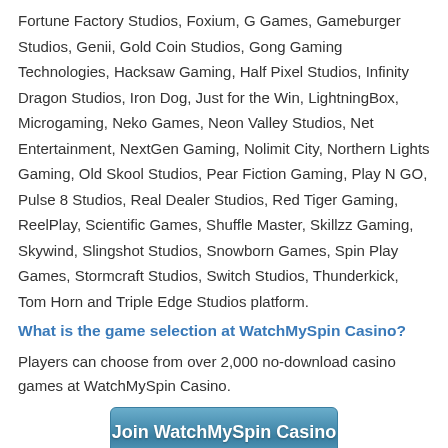Fortune Factory Studios, Foxium, G Games, Gameburger Studios, Genii, Gold Coin Studios, Gong Gaming Technologies, Hacksaw Gaming, Half Pixel Studios, Infinity Dragon Studios, Iron Dog, Just for the Win, LightningBox, Microgaming, Neko Games, Neon Valley Studios, Net Entertainment, NextGen Gaming, Nolimit City, Northern Lights Gaming, Old Skool Studios, Pear Fiction Gaming, Play N GO, Pulse 8 Studios, Real Dealer Studios, Red Tiger Gaming, ReelPlay, Scientific Games, Shuffle Master, Skillzz Gaming, Skywind, Slingshot Studios, Snowborn Games, Spin Play Games, Stormcraft Studios, Switch Studios, Thunderkick, Tom Horn and Triple Edge Studios platform.
What is the game selection at WatchMySpin Casino?
Players can choose from over 2,000 no-download casino games at WatchMySpin Casino.
Join WatchMySpin Casino
Other gambling sites owned by ProgressPlay Limited
21 Bets Casino
2kBet Casino
777 Tigers Casino